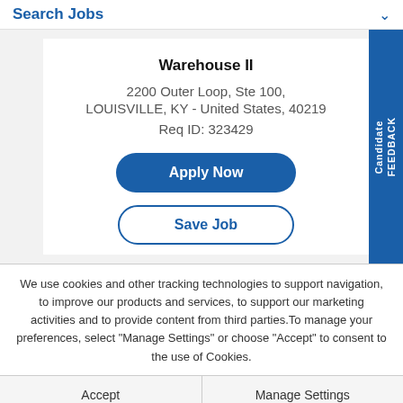Search Jobs
Warehouse II
2200 Outer Loop, Ste 100,
LOUISVILLE, KY - United States, 40219
Req ID: 323429
[Figure (screenshot): Apply Now button (blue rounded rectangle)]
[Figure (screenshot): Save Job button (white rounded rectangle with blue border)]
We use cookies and other tracking technologies to support navigation, to improve our products and services, to support our marketing activities and to provide content from third parties.To manage your preferences, select "Manage Settings" or choose "Accept" to consent to the use of Cookies.
Accept
Manage Settings